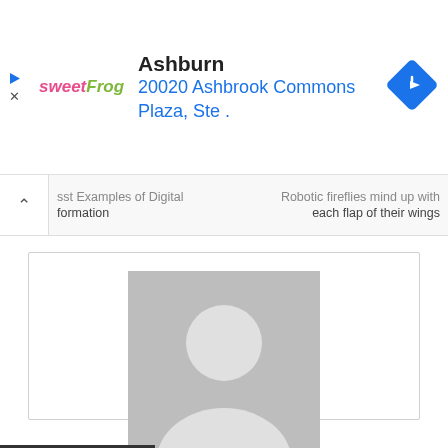[Figure (screenshot): Ad banner for sweetFrog frozen yogurt in Ashburn with navigation icon]
sst Examples of Digital formation | Robotic fireflies mind up with each flap of their wings
[Figure (illustration): Generic user profile avatar placeholder (grey silhouette)]
admin
https://besttech247.com